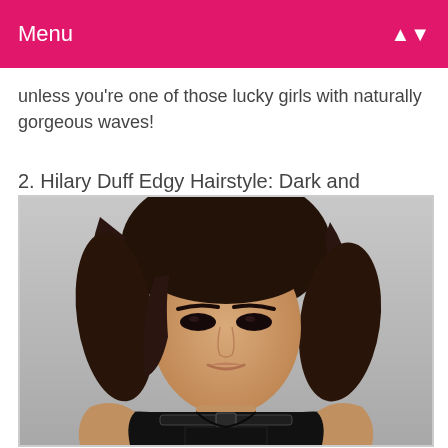Menu
unless you're one of those lucky girls with naturally gorgeous waves!
2. Hilary Duff Edgy Hairstyle: Dark and Tussled
[Figure (photo): Photo of Hilary Duff with dark, tussled updo hairstyle, wearing a black harness-style top, posed with hands on hips against a gray background.]